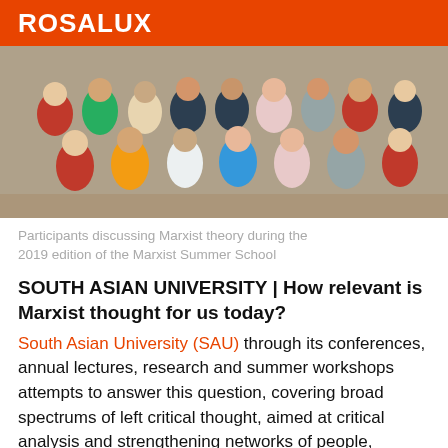ROSALUX
[Figure (photo): Group photo of participants at the Marxist Summer School 2019, standing and sitting together indoors.]
Participants discussing Marxist theory during the 2019 edition of the Marxist Summer School
SOUTH ASIAN UNIVERSITY | How relevant is Marxist thought for us today?
South Asian University (SAU) through its conferences, annual lectures, research and summer workshops attempts to answer this question, covering broad spectrums of left critical thought, aimed at critical analysis and strengthening networks of people, especially the youth. In 2018 the